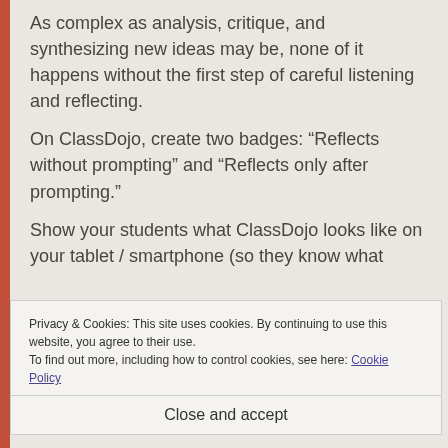As complex as analysis, critique, and synthesizing new ideas may be, none of it happens without the first step of careful listening and reflecting.
On ClassDojo, create two badges: “Reflects without prompting” and “Reflects only after prompting.”
Show your students what ClassDojo looks like on your tablet / smartphone (so they know what
Privacy & Cookies: This site uses cookies. By continuing to use this website, you agree to their use.
To find out more, including how to control cookies, see here: Cookie Policy
Close and accept
Quietly sit down near them – do not speak to them